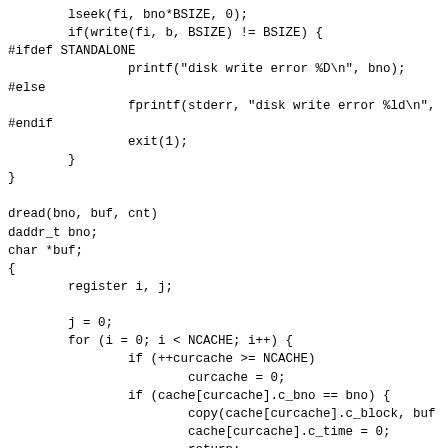lseek(fi, bno*BSIZE, 0);
        if(write(fi, b, BSIZE) != BSIZE) {
#ifdef STANDALONE
                printf("disk write error %D\n", bno);
#else
                fprintf(stderr, "disk write error %ld\n",
#endif
                exit(1);
        }
}

dread(bno, buf, cnt)
daddr_t bno;
char *buf;
{
        register i, j;

        j = 0;
        for (i = 0; i < NCACHE; i++) {
                if (++curcache >= NCACHE)
                        curcache = 0;
                if (cache[curcache].c_bno == bno) {
                        copy(cache[curcache].c_block, buf
                        cache[curcache].c_time = 0;
                        return;
                }
                else {
                        cache[curcache].c_time++;
                        if (cache[j].c_time < cache[curca
                                j = curcache;